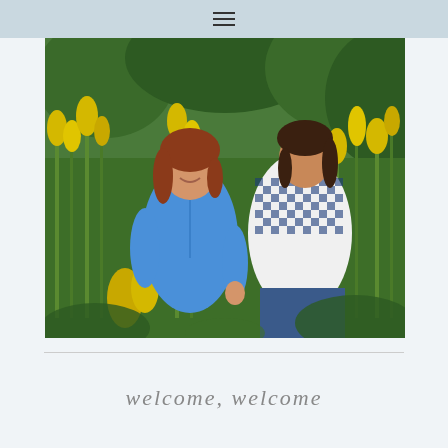≡
[Figure (photo): Two women standing outdoors among tall yellow wildflowers (goldenrod) and green foliage. The woman on the left has auburn hair and wears a blue chambray shirt. The woman on the right has dark brown hair and wears a navy and white gingham checked shirt. Both are smiling. Background shows dense green trees.]
welcome, welcome